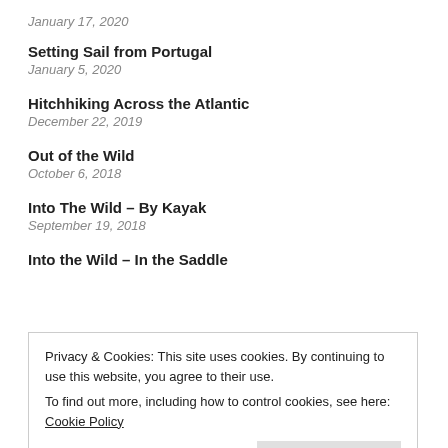January 17, 2020
Setting Sail from Portugal
January 5, 2020
Hitchhiking Across the Atlantic
December 22, 2019
Out of the Wild
October 6, 2018
Into The Wild – By Kayak
September 19, 2018
Into the Wild – In the Saddle
Privacy & Cookies: This site uses cookies. By continuing to use this website, you agree to their use.
To find out more, including how to control cookies, see here: Cookie Policy
March 2020 (1)